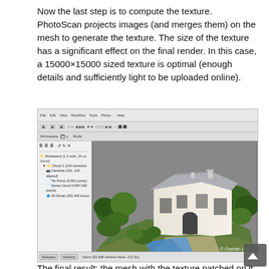Now the last step is to compute the texture. PhotoScan projects images (and merges them) on the mesh to generate the texture. The size of the texture has a significant effect on the final render. In this case, a 15000×15000 sized texture is optimal (enough details and sufficiently light to be uploaded online).
[Figure (screenshot): Screenshot of PhotoScan 3D modeling software showing a textured 3D model of a white Mediterranean-style house surrounded by trees and vegetation, with a pool visible at the bottom. The software workspace panel is visible on the left side. Copyright Gaétan Laure watermark in the bottom right.]
The final result: the mesh with the texture patched on it. It took 2 mins 47 secs to compute the texture.